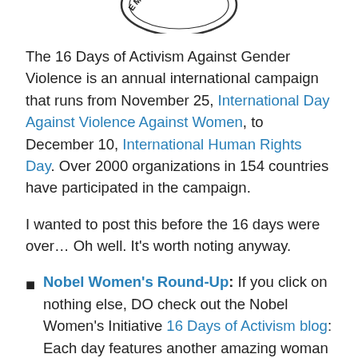[Figure (logo): Circular stamp/seal logo with text 'EMBER · 10 DEC' visible along the top arc, partially cropped at the top of the page]
The 16 Days of Activism Against Gender Violence is an annual international campaign that runs from November 25, International Day Against Violence Against Women, to December 10, International Human Rights Day. Over 2000 organizations in 154 countries have participated in the campaign.
I wanted to post this before the 16 days were over… Oh well. It's worth noting anyway.
Nobel Women's Round-Up: If you click on nothing else, DO check out the Nobel Women's Initiative 16 Days of Activism blog: Each day features another amazing woman activist from a different part of the world: Palestine and Israel and the Congo and Iran and